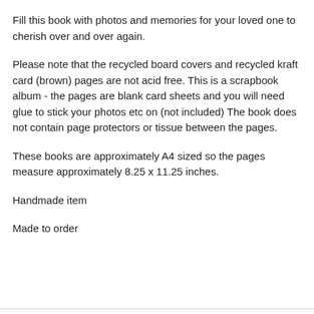Fill this book with photos and memories for your loved one to cherish over and over again.
Please note that the recycled board covers and recycled kraft card (brown) pages are not acid free. This is a scrapbook album - the pages are blank card sheets and you will need glue to stick your photos etc on (not included) The book does not contain page protectors or tissue between the pages.
These books are approximately A4 sized so the pages measure approximately 8.25 x 11.25 inches.
Handmade item
Made to order